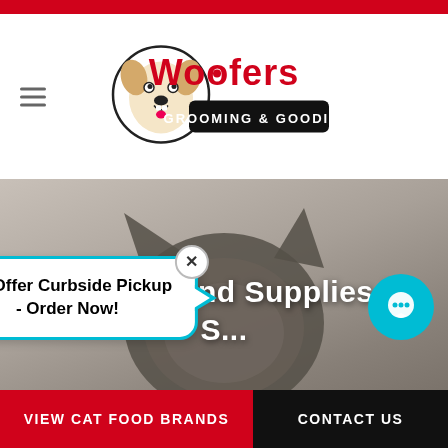[Figure (logo): Woofers Grooming & Goodies logo with cartoon dog]
[Figure (photo): Hero background showing close-up of a cat with blurred gray background]
Cat Food and Supplies in S...
We Offer Curbside Pickup - Order Now!
VIEW CAT FOOD BRANDS
CONTACT US